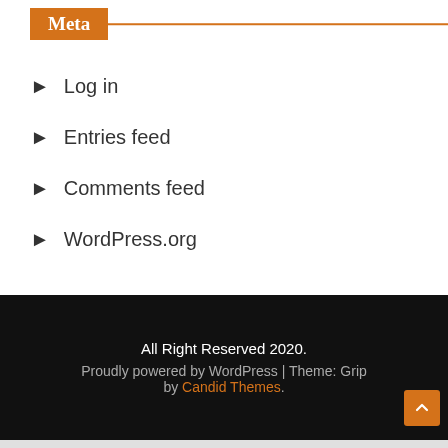Meta
Log in
Entries feed
Comments feed
WordPress.org
All Right Reserved 2020. Proudly powered by WordPress | Theme: Grip by Candid Themes.